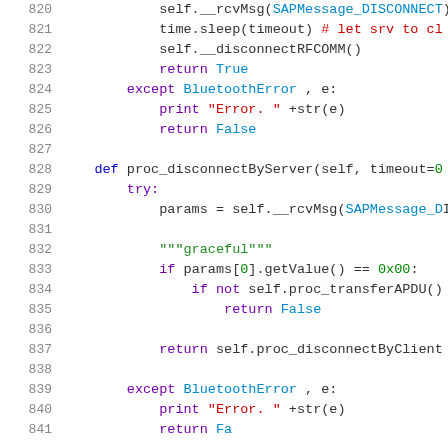[Figure (screenshot): Python source code snippet showing lines 820-841, featuring methods proc_disconnectByServer with try/except blocks, BluetoothError handling, and SAP message processing. Syntax highlighted with purple keywords, red strings/comments, blue class names, green docstrings.]